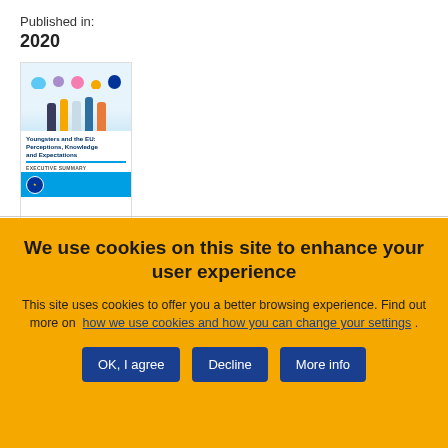Published in:
2020
[Figure (illustration): Book cover thumbnail for 'Youngsters and the EU: Perceptions, Knowledge and Expectations – Executive Summary', showing young people holding speech bubbles, with EU branding in blue and teal.]
We use cookies on this site to enhance your user experience
This site uses cookies to offer you a better browsing experience. Find out more on how we use cookies and how you can change your settings .
OK, I agree
Decline
More info